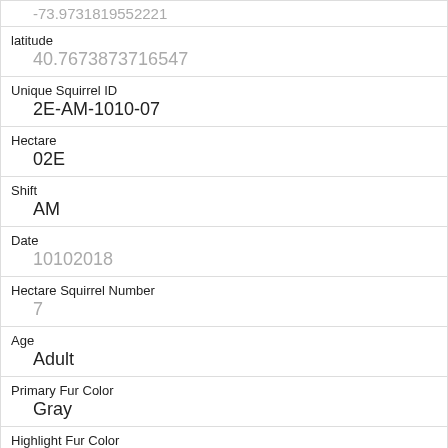| latitude | 40.7673873716547 |
| Unique Squirrel ID | 2E-AM-1010-07 |
| Hectare | 02E |
| Shift | AM |
| Date | 10102018 |
| Hectare Squirrel Number | 7 |
| Age | Adult |
| Primary Fur Color | Gray |
| Highlight Fur Color | Cinnamon, White |
| Combination of Primary and Highlight Color | Gray+Cinnamon, White |